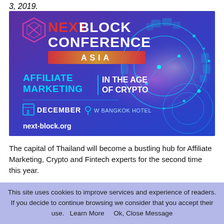3, 2019.
[Figure (illustration): NextBlock Conference Asia promotional banner. Purple/blue gradient background with cyan gear/network graphics. Text: NEXT BLOCK CONFERENCE ASIA. AFFILIATE MARKETING | IN THE AGE OF CRYPTO. 3 DECEMBER, W BANGKOK HOTEL. next-block.org]
The capital of Thailand will become a bustling hub for Affiliate Marketing, Crypto and Fintech experts for the second time this year.
This site uses cookies to improve services and experience of readers. If you decide to continue browsing we consider that you accept their use.   Learn More     Ok, Close Message